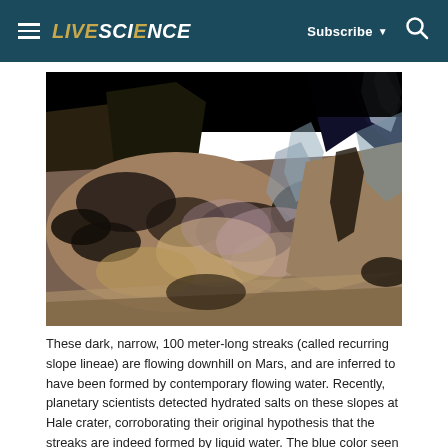LIVESCIENCE — Subscribe ▼ 🔍
[Figure (photo): False-color satellite image of dark streaks (recurring slope lineae) flowing downhill on Martian terrain, showing mountains and ridges with black background sky. The streaks appear as dark lines running down rocky slopes. Blue-tinted areas are visible upslope of the dark streaks.]
These dark, narrow, 100 meter-long streaks (called recurring slope lineae) are flowing downhill on Mars, and are inferred to have been formed by contemporary flowing water. Recently, planetary scientists detected hydrated salts on these slopes at Hale crater, corroborating their original hypothesis that the streaks are indeed formed by liquid water. The blue color seen upslope of the dark streaks are thought not to be related to their formation,